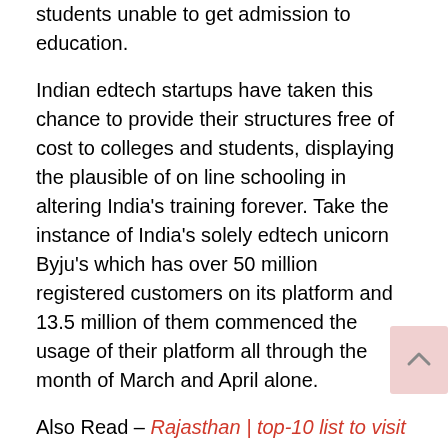students unable to get admission to education.
Indian edtech startups have taken this chance to provide their structures free of cost to colleges and students, displaying the plausible of on line schooling in altering India's training forever. Take the instance of India's solely edtech unicorn Byju's which has over 50 million registered customers on its platform and 13.5 million of them commenced the usage of their platform all through the month of March and April alone.
Also Read – Rajasthan | top-10 list to visit | Best places of Rajasthan
Video Conferencing
One of the largest organization that has taken the world through storm for the duration of the